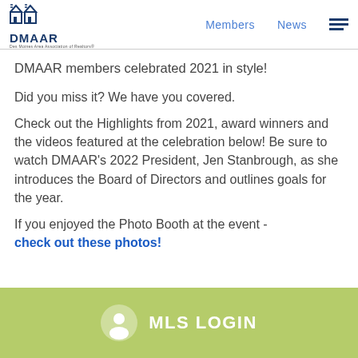DMAAR | Members | News
DMAAR members celebrated 2021 in style!
Did you miss it? We have you covered.
Check out the Highlights from 2021, award winners and the videos featured at the celebration below! Be sure to watch DMAAR’s 2022 President, Jen Stanbrough, as she introduces the Board of Directors and outlines goals for the year.
If you enjoyed the Photo Booth at the event - check out these photos!
MLS LOGIN